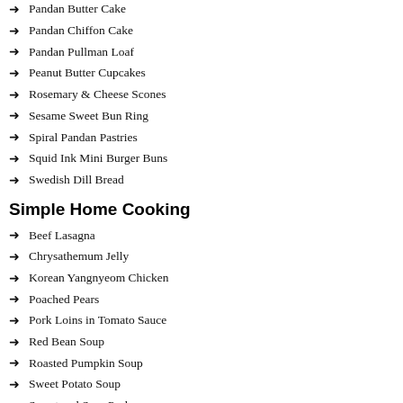Pandan Butter Cake
Pandan Chiffon Cake
Pandan Pullman Loaf
Peanut Butter Cupcakes
Rosemary & Cheese Scones
Sesame Sweet Bun Ring
Spiral Pandan Pastries
Squid Ink Mini Burger Buns
Swedish Dill Bread
Simple Home Cooking
Beef Lasagna
Chrysathemum Jelly
Korean Yangnyeom Chicken
Poached Pears
Pork Loins in Tomato Sauce
Red Bean Soup
Roasted Pumpkin Soup
Sweet Potato Soup
Sweet and Sour Pork
Tuna Potato Croquette
Wok Fried Char Siew